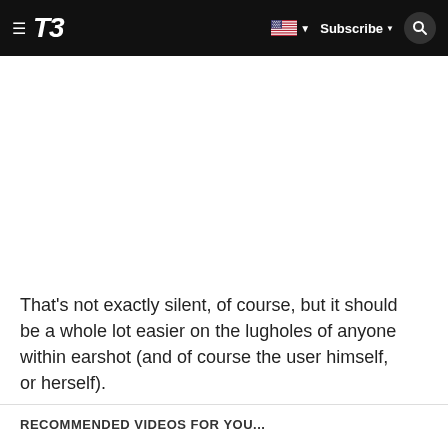T3  Subscribe
That's not exactly silent, of course, but it should be a whole lot easier on the lugholes of anyone within earshot (and of course the user himself, or herself).
RECOMMENDED VIDEOS FOR YOU...